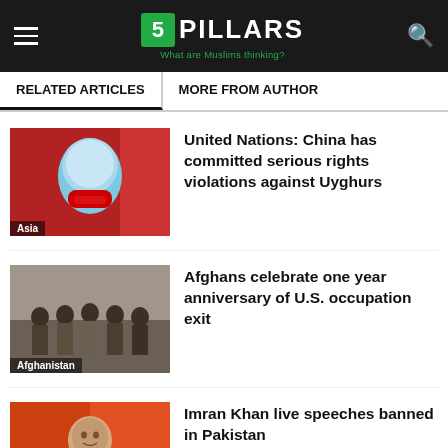5 PILLARS — What are Muslims thinking?
RELATED ARTICLES | MORE FROM AUTHOR
[Figure (photo): Protest image showing person in blue mask with red mouth, red background. Category label: Asia]
United Nations: China has committed serious rights violations against Uyghurs
[Figure (photo): Group of Afghan men standing together. Category label: Afghanistan]
Afghans celebrate one year anniversary of U.S. occupation exit
[Figure (photo): Man in white shirt against orange-red background. Category label: Asia]
Imran Khan live speeches banned in Pakistan
[Figure (photo): Turkish and Israeli flags side by side]
Turkey and Israel to restore full diplomatic relations